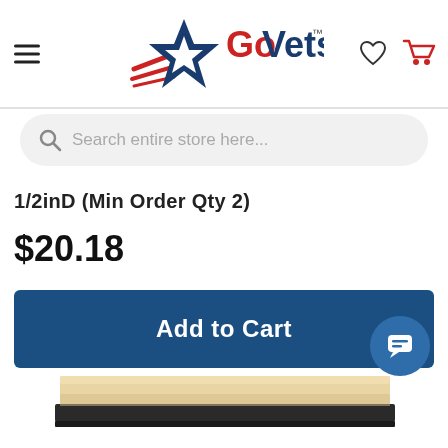[Figure (logo): GoVets logo with red and blue star graphic and 'GoVets™' text]
[Figure (screenshot): Search bar with magnifying glass icon and placeholder text 'Search entire store here...']
1/2inD (Min Order Qty 2)
$20.18
Add to Cart
[Figure (photo): Bottom portion of a product image showing what appears to be a flat board or mat with light wood-colored top and dark rubber bottom edge]